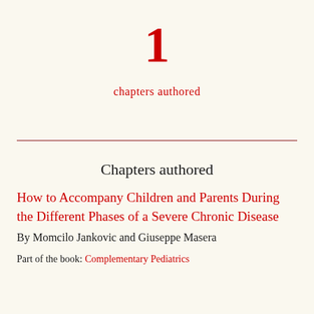1
chapters authored
Chapters authored
How to Accompany Children and Parents During the Different Phases of a Severe Chronic Disease
By Momcilo Jankovic and Giuseppe Masera
Part of the book: Complementary Pediatrics